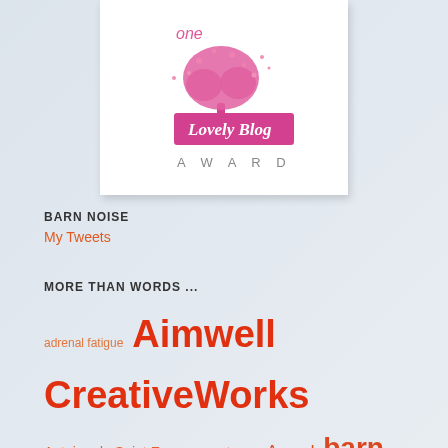[Figure (illustration): One Lovely Blog Award badge with a pink tree illustration and cursive 'Lovely Blog' text, 'A W A R D' in gray letters below, on white background with shadow]
BARN NOISE
My Tweets
MORE THAN WORDS ...
adrenal fatigue Aimwell CreativeWorks Antoine de Saint Exupery autumn Award barn Barn Mavens Bear beauty body language change Chris Irwin coaching dogs Dorothy Chiotti Dream dreams dressage